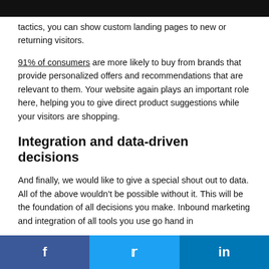tactics, you can show custom landing pages to new or returning visitors.
91% of consumers are more likely to buy from brands that provide personalized offers and recommendations that are relevant to them. Your website again plays an important role here, helping you to give direct product suggestions while your visitors are shopping.
Integration and data-driven decisions
And finally, we would like to give a special shout out to data. All of the above wouldn't be possible without it. This will be the foundation of all decisions you make. Inbound marketing and integration of all tools you use go hand in hand.
f  in